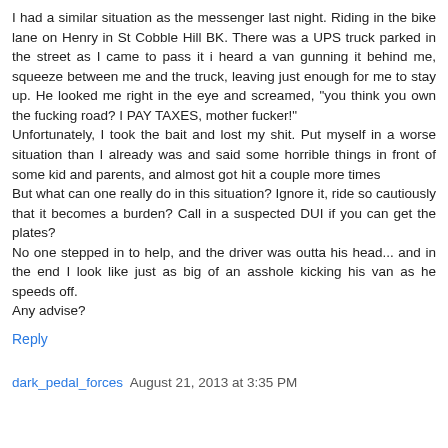I had a similar situation as the messenger last night. Riding in the bike lane on Henry in St Cobble Hill BK. There was a UPS truck parked in the street as I came to pass it i heard a van gunning it behind me, squeeze between me and the truck, leaving just enough for me to stay up. He looked me right in the eye and screamed, "you think you own the fucking road? I PAY TAXES, mother fucker!"
Unfortunately, I took the bait and lost my shit. Put myself in a worse situation than I already was and said some horrible things in front of some kid and parents, and almost got hit a couple more times
But what can one really do in this situation? Ignore it, ride so cautiously that it becomes a burden? Call in a suspected DUI if you can get the plates?
No one stepped in to help, and the driver was outta his head... and in the end I look like just as big of an asshole kicking his van as he speeds off.
Any advise?
Reply
dark_pedal_forces  August 21, 2013 at 3:35 PM